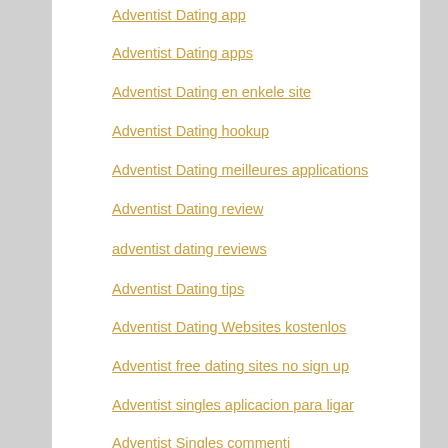Adventist Dating app
Adventist Dating apps
Adventist Dating en enkele site
Adventist Dating hookup
Adventist Dating meilleures applications
Adventist Dating review
adventist dating reviews
Adventist Dating tips
Adventist Dating Websites kostenlos
Adventist free dating sites no sign up
Adventist singles aplicacion para ligar
Adventist Singles commenti